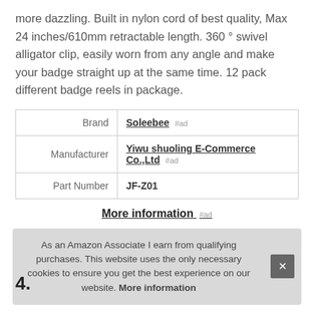more dazzling. Built in nylon cord of best quality, Max 24 inches/610mm retractable length. 360 ° swivel alligator clip, easily worn from any angle and make your badge straight up at the same time. 12 pack different badge reels in package.
|  |  |
| --- | --- |
| Brand | Soleebee #ad |
| Manufacturer | Yiwu shuoling E-Commerce Co.,Ltd #ad |
| Part Number | JF-Z01 |
More information #ad
As an Amazon Associate I earn from qualifying purchases. This website uses the only necessary cookies to ensure you get the best experience on our website. More information
4.